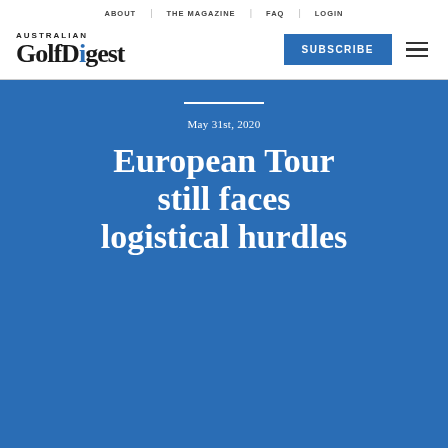ABOUT | THE MAGAZINE | FAQ | LOGIN
[Figure (logo): Australian Golf Digest logo with blue dot on the 'i' in Digest]
SUBSCRIBE
May 31st, 2020
European Tour still faces logistical hurdles